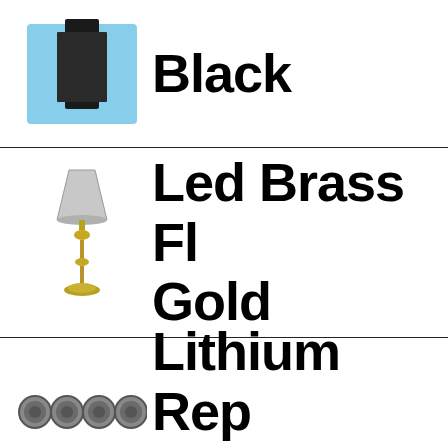[Figure (photo): Product image: dark/black item on light blue background]
Black
[Figure (photo): Product image: brass floor lamp with white shade, gold base]
Led Brass Fl Gold
[Figure (photo): Four round lithium button batteries]
Lithium Rep Battery, 4 p